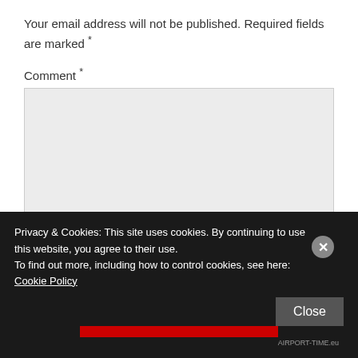Your email address will not be published. Required fields are marked *
Comment *
Privacy & Cookies: This site uses cookies. By continuing to use this website, you agree to their use.
To find out more, including how to control cookies, see here: Cookie Policy
Close